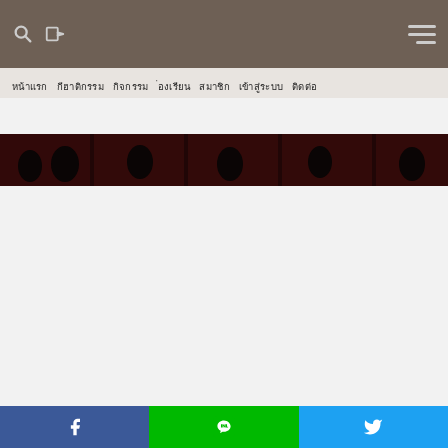Navigation bar with search, login, and hamburger menu icons
Thai language text heading (illegible characters)
[Figure (photo): Dark panoramic photo strip showing silhouettes of people seated in what appears to be an auditorium or theater with red curtain/drape background]
Social sharing buttons: Facebook, LINE, Twitter